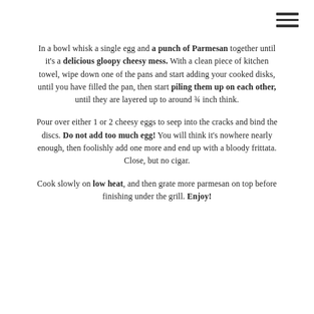In a bowl whisk a single egg and a punch of Parmesan together until it's a delicious gloopy cheesy mess. With a clean piece of kitchen towel, wipe down one of the pans and start adding your cooked disks, until you have filled the pan, then start piling them up on each other, until they are layered up to around ¾ inch think.
Pour over either 1 or 2 cheesy eggs to seep into the cracks and bind the discs. Do not add too much egg! You will think it's nowhere nearly enough, then foolishly add one more and end up with a bloody frittata. Close, but no cigar.
Cook slowly on low heat, and then grate more parmesan on top before finishing under the grill. Enjoy!